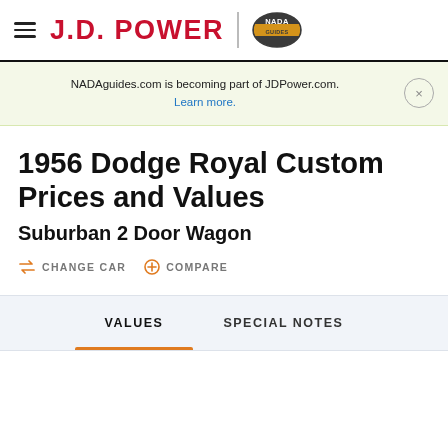J.D. POWER | NADA Guides header
NADAguides.com is becoming part of JDPower.com. Learn more.
1956 Dodge Royal Custom Prices and Values
Suburban 2 Door Wagon
CHANGE CAR   COMPARE
VALUES   SPECIAL NOTES